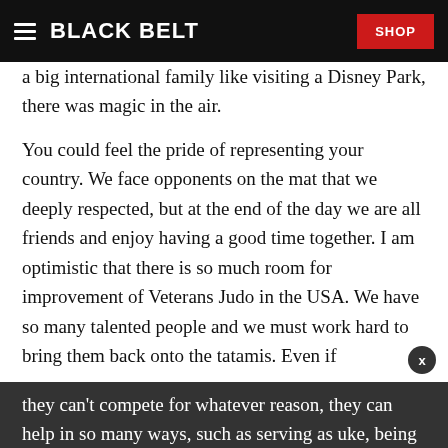BLACK BELT | SHOP
a big international family like visiting a Disney Park, there was magic in the air.
You could feel the pride of representing your country. We face opponents on the mat that we deeply respected, but at the end of the day we are all friends and enjoy having a good time together. I am optimistic that there is so much room for improvement of Veterans Judo in the USA. We have so many talented people and we must work hard to bring them back onto the tatamis. Even if they can't compete for whatever reason, they can help in so many ways, such as serving as uke, being